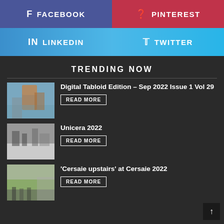[Figure (other): Facebook share button, blue-purple background]
[Figure (other): Pinterest share button, red background]
[Figure (other): LinkedIn share button, blue gradient background]
[Figure (other): Twitter share button, light blue gradient background]
TRENDING NOW
[Figure (photo): Photo of a historic round tower building against blue sky]
Digital Tabloid Edition – Sep 2022 Issue 1 Vol 29
[Figure (photo): Photo of people at an exhibition/event with white tile displays]
Unicera 2022
[Figure (photo): Photo of outdoor exhibition area with people walking]
'Cersaie upstairs' at Cersaie 2022